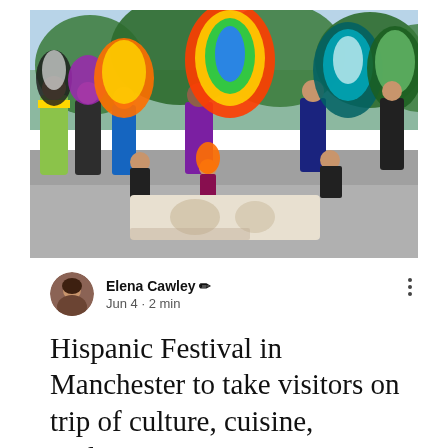[Figure (photo): Group photo of people in colorful Aztec/indigenous festival costumes with elaborate feathered headdresses in yellow, purple, blue and green, posing outdoors in front of green trees. Some are kneeling in front holding a decorative board/sign.]
Elena Cawley ✏ Jun 4 · 2 min
Hispanic Festival in Manchester to take visitors on trip of culture, cuisine, traditions